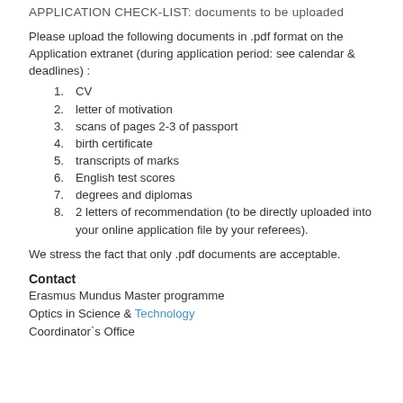APPLICATION CHECK-LIST: documents to be uploaded
Please upload the following documents in .pdf format on the Application extranet (during application period: see calendar & deadlines) :
CV
letter of motivation
scans of pages 2-3 of passport
birth certificate
transcripts of marks
English test scores
degrees and diplomas
2 letters of recommendation (to be directly uploaded into your online application file by your referees).
We stress the fact that only .pdf documents are acceptable.
Contact
Erasmus Mundus Master programme
Optics in Science & Technology
Coordinator`s Office